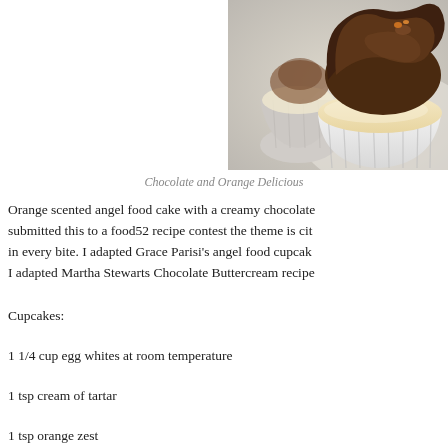[Figure (photo): Close-up photo of cupcakes with chocolate frosting and white paper liners, with a soft blurred background. The cupcake in front has rich dark chocolate swirled frosting.]
Chocolate and Orange Delicious
Orange scented angel food cake with a creamy chocolate submitted this to a food52 recipe contest the theme is cit in every bite. I adapted Grace Parisi’s angel food cupcak I adapted Martha Stewarts Chocolate Buttercream recipe
Cupcakes:
1 1/4 cup egg whites at room temperature
1 tsp cream of tartar
1 tsp orange zest